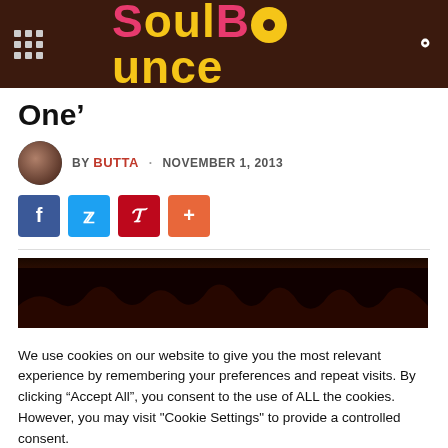SoulBounce
One’
BY BUTTA · NOVEMBER 1, 2013
[Figure (other): Social share buttons: Facebook, Twitter, Pinterest, and a plus button]
[Figure (photo): Dark hero image showing silhouettes against a dark brown/red background]
We use cookies on our website to give you the most relevant experience by remembering your preferences and repeat visits. By clicking “Accept All”, you consent to the use of ALL the cookies. However, you may visit "Cookie Settings" to provide a controlled consent.
Cookie Settings   Accept All